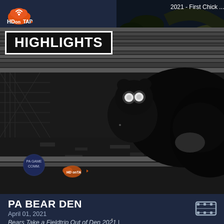[Figure (screenshot): HD On Tap logo in top-left corner - orange cloud with wifi symbol and white text 'HD onTAP']
[Figure (screenshot): Related video thumbnail showing birds in nest, titled '2021 - First Chick ...' with a play button triangle]
[Figure (screenshot): Main night-vision wildlife camera video thumbnail showing a bear cub with glowing eyes and a larger bear, inside a den under a structure. 'HIGHLIGHTS' badge overlay. PA Game Commission and HD On Tap logos at bottom-left.]
PA BEAR DEN
April 01, 2021
Bears Take a Fieldtrip Out of Den 2021 | HDOnTap.com